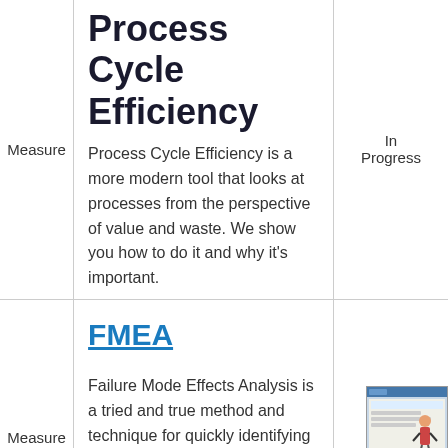Process Cycle Efficiency
Process Cycle Efficiency is a more modern tool that looks at processes from the perspective of value and waste. We show you how to do it and why it's important.
Measure
In Progress
FMEA
Failure Mode Effects Analysis is a tried and true method and technique for quickly identifying
Measure